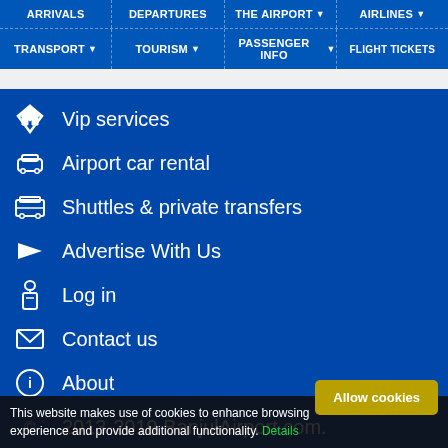ARRIVALS | DEPARTURES | THE AIRPORT | AIRLINES | TRANSPORT | TOURISM | PASSENGER INFO | FLIGHT TICKETS
Vip services
Airport car rental
Shuttles & private transfers
Advertise With Us
Log in
Contact us
About
2013-2019 BanjulAirport.com.
[Figure (logo): Banjul Airport logo with airplane silhouette and Visit The Gambia text]
This website makes use of cookies to enhance browsing experience and provide additional functionality. Details Allow cookies